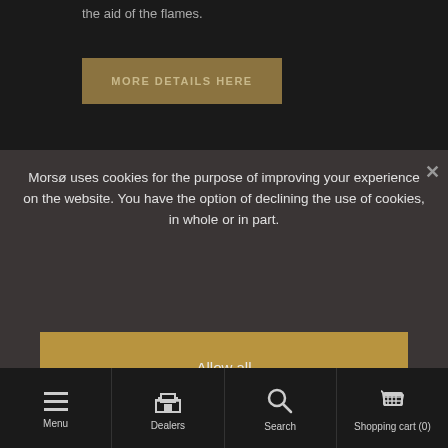the aid of the flames.
[Figure (screenshot): Button labeled MORE DETAILS HERE with golden-brown background]
Morsø uses cookies for the purpose of improving your experience on the website. You have the option of declining the use of cookies, in whole or in part.
[Figure (screenshot): Allow all button - golden/tan colored]
[Figure (screenshot): Reject all button - dark gray]
[Figure (screenshot): Settings button - dark gray]
[Figure (screenshot): More Info button - dark gray]
Menu   Dealers   Search   Shopping cart (0)